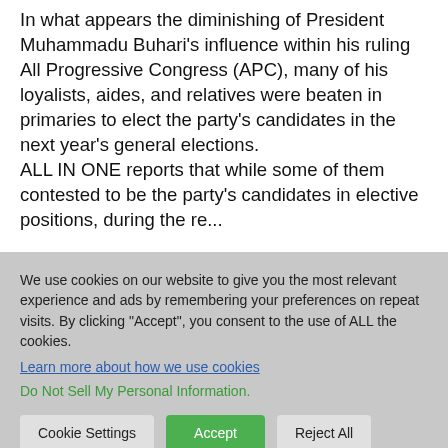In what appears the diminishing of President Muhammadu Buhari's influence within his ruling All Progressive Congress (APC), many of his loyalists, aides, and relatives were beaten in primaries to elect the party's candidates in the next year's general elections. ALL IN ONE reports that while some of them contested to be the party's candidates in elective positions, during the recently concluded primaries, the...
We use cookies on our website to give you the most relevant experience and ads by remembering your preferences on repeat visits. By clicking "Accept", you consent to the use of ALL the cookies. Learn more about how we use cookies. Do Not Sell My Personal Information.